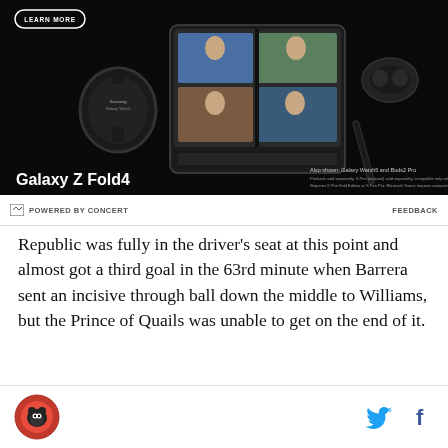[Figure (photo): Samsung Galaxy Z Fold4 advertisement showing the phone, Galaxy Watch5, Buds2 Pro, and S Pen on a black background with LEARN MORE button]
Galaxy Z Fold4 — Also shown: Galaxy Watch5 and Buds2 Pro. Products sold separately. S Pen (optional) sold separately, compatible only with main display. Requires S Pen Fold Edition or S Pen Pro. Microsoft Teams requires separate download.
POWERED BY CONCERT   FEEDBACK
Republic was fully in the driver's seat at this point and almost got a third goal in the 63rd minute when Barrera sent an incisive through ball down the middle to Williams, but the Prince of Quails was unable to get on the end of it.